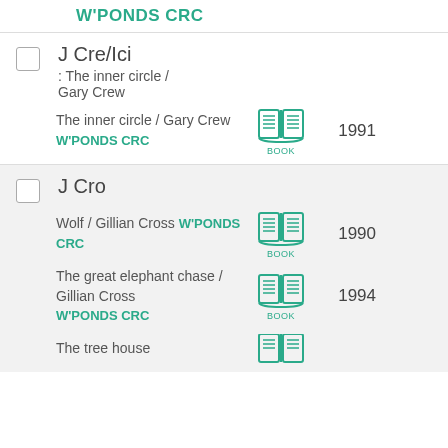W'PONDS CRC
J Cre/Ici
: The inner circle / Gary Crew
The inner circle / Gary Crew
W'PONDS CRC
1991
J Cro
Wolf / Gillian Cross W'PONDS CRC
1990
The great elephant chase / Gillian Cross
W'PONDS CRC
1994
The tree house